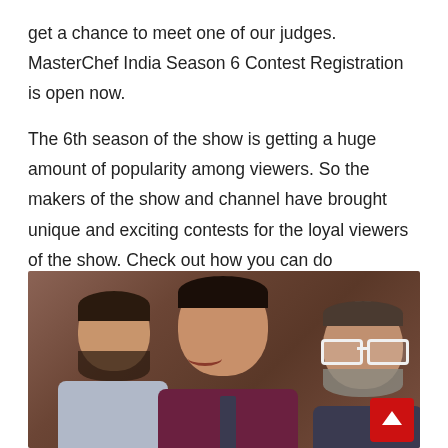get a chance to meet one of our judges. MasterChef India Season 6 Contest Registration is open now.
The 6th season of the show is getting a huge amount of popularity among viewers. So the makers of the show and channel have brought unique and exciting contests for the loyal viewers of the show. Check out how you can do registration form MasterChef India contest below.
[Figure (photo): Three men smiling — MasterChef India judges — posed together. The man on the left wears a light grey suit, the man in the center wears a maroon suit with a dark tie, and the man on the right wears glasses with white frames and a dark jacket. Background is warm brown/amber tones.]